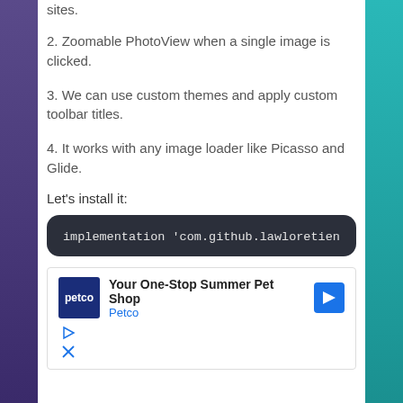sites.
2. Zoomable PhotoView when a single image is clicked.
3. We can use custom themes and apply custom toolbar titles.
4. It works with any image loader like Picasso and Glide.
Let's install it:
[Figure (screenshot): Dark code block showing: implementation 'com.github.lawloretien]
[Figure (screenshot): Advertisement box showing Petco: Your One-Stop Summer Pet Shop with Petco logo and navigation arrow icon, plus play and close icons]